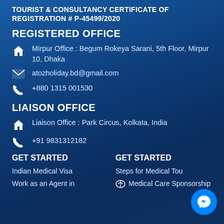TOURIST & CONSULTANCY CERTIFICATE OF REGISTRATION # P-45499/2020
REGISTERED OFFICE
Mirpur Office : Begum Rokeya Sarani, 5th Floor, Mirpur 10, Dhaka
atozholiday.bd@gmail.com
+880 1315 001530
LIAISON OFFICE
Liaison Office : Park Circus, Kolkata, India
+91 9831312182
GET STARTED
Indian Medical Visa
Work as an Agent in
GET STARTED
Steps for Medical Tou...
Medical Care Sponsorship